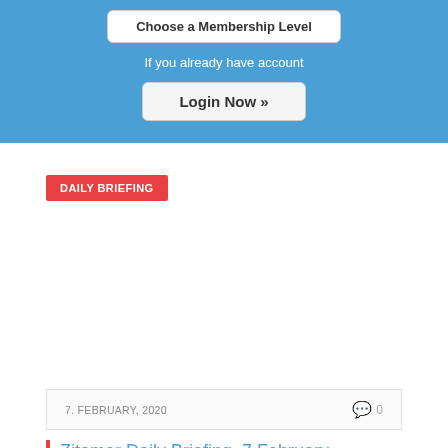Choose a Membership Level
If you already have account
Login Now »
DAILY BRIEFING
7. FEBRUARY, 2020
0
Zitamar Daily Briefing, 7 February
Welcome to Zitamar's daily Mozambique briefing for 7